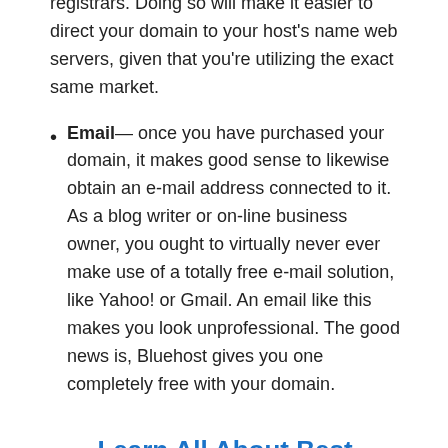registrars. Doing so will make it easier to direct your domain to your host's name web servers, given that you're utilizing the exact same market.
Email— once you have purchased your domain, it makes good sense to likewise obtain an e-mail address connected to it. As a blog writer or on-line business owner, you ought to virtually never ever make use of a totally free e-mail solution, like Yahoo! or Gmail. An email like this makes you look unprofessional. The good news is, Bluehost gives you one completely free with your domain.
Learn All About Best Website Hosting And Building 2016 Through The Official Site Here ->
Bluehost additionally provides devoted web servers.
As well as you may be asking …" What is a specialized web server and how does it ...